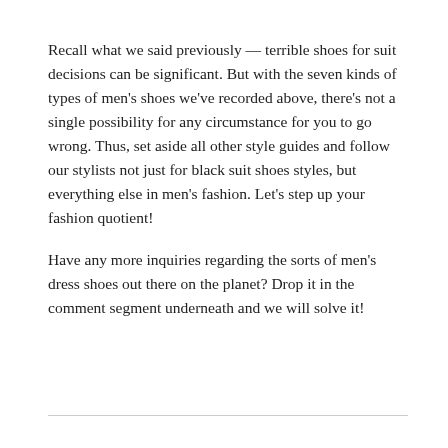Recall what we said previously — terrible shoes for suit decisions can be significant. But with the seven kinds of types of men's shoes we've recorded above, there's not a single possibility for any circumstance for you to go wrong. Thus, set aside all other style guides and follow our stylists not just for black suit shoes styles, but everything else in men's fashion. Let's step up your fashion quotient!
Have any more inquiries regarding the sorts of men's dress shoes out there on the planet? Drop it in the comment segment underneath and we will solve it!